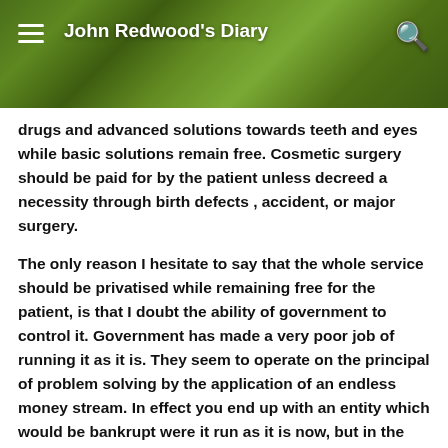John Redwood's Diary
drugs and advanced solutions towards teeth and eyes while basic solutions remain free. Cosmetic surgery should be paid for by the patient unless decreed a necessity through birth defects , accident, or major surgery.
The only reason I hesitate to say that the whole service should be privatised while remaining free for the patient, is that I doubt the ability of government to control it. Government has made a very poor job of running it as it is. They seem to operate on the principal of problem solving by the application of an endless money stream. In effect you end up with an entity which would be bankrupt were it run as it is now, but in the private sector. In fact looking at other things the government supposedly runs, defence, environment, energy supply and railways, is there anything they are capable of.